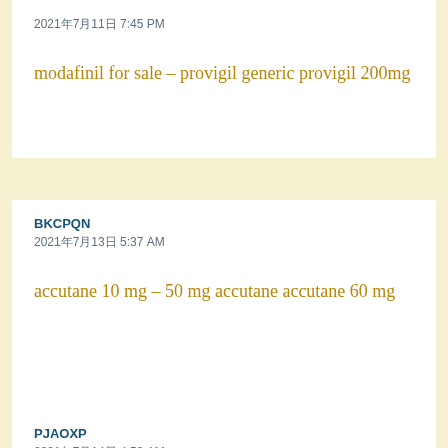2021年7月11日 7:45 PM
modafinil for sale – provigil generic provigil 200mg
BKCPQN
2021年7月13日 5:37 AM
accutane 10 mg – 50 mg accutane accutane 60 mg
PJAOXP
2021年7月14日 4:52 AM